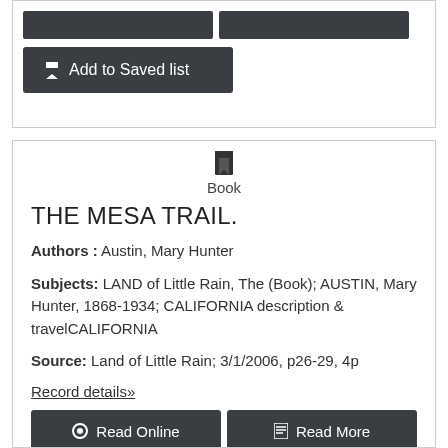[Figure (other): Add to Saved list button (dark grey) at top of page]
[Figure (illustration): Book icon and label 'Book' centered above record title]
THE MESA TRAIL.
Authors : Austin, Mary Hunter
Subjects: LAND of Little Rain, The (Book); AUSTIN, Mary Hunter, 1868-1934; CALIFORNIA description & travelCALIFORNIA
Source: Land of Little Rain; 3/1/2006, p26-29, 4p
Record details»
[Figure (other): Read Online and Read More buttons (dark grey)]
[Figure (other): Add to Saved list button (dark grey) partially visible at bottom]